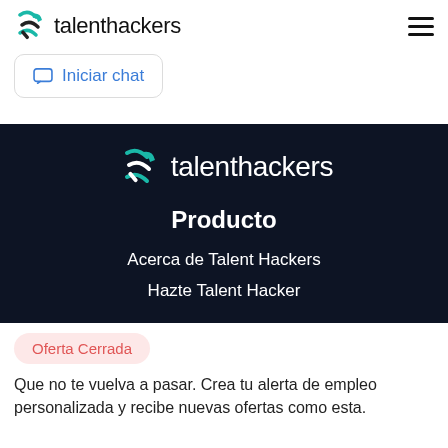talenthackers
Iniciar chat
[Figure (logo): talenthackers logo in white on dark background]
Producto
Acerca de Talent Hackers
Hazte Talent Hacker
Oferta Cerrada
Que no te vuelva a pasar. Crea tu alerta de empleo personalizada y recibe nuevas ofertas como esta.